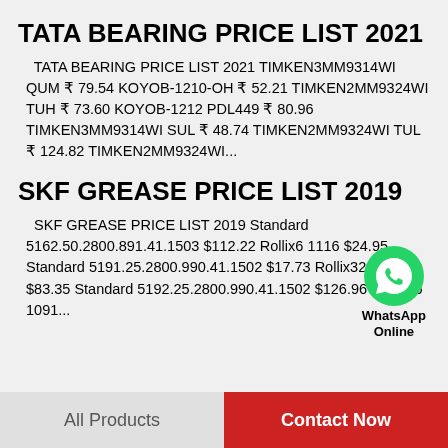TATA BEARING PRICE LIST 2021
TATA BEARING PRICE LIST 2021 TIMKEN3MM9314WI QUM ₹ 79.54 KOYOB-1210-OH ₹ 52.21 TIMKEN2MM9324WI TUH ₹ 73.60 KOYOB-1212 PDL449 ₹ 80.96 TIMKEN3MM9314WI SUL ₹ 48.74 TIMKEN2MM9324WI TUL ₹ 124.82 TIMKEN2MM9324WI...
[Figure (logo): WhatsApp icon (green circle with phone) with text 'WhatsApp Online']
SKF GREASE PRICE LIST 2019
SKF GREASE PRICE LIST 2019 Standard 5162.50.2800.891.41.1503 $112.22 Rollix6 1116 $24.95 Standard 5191.25.2800.990.41.1502 $17.73 Rollix32 1091 01 $83.35 Standard 5192.25.2800.990.41.1502 $126.96 Rollix35 1091...
All Products
Contact Now